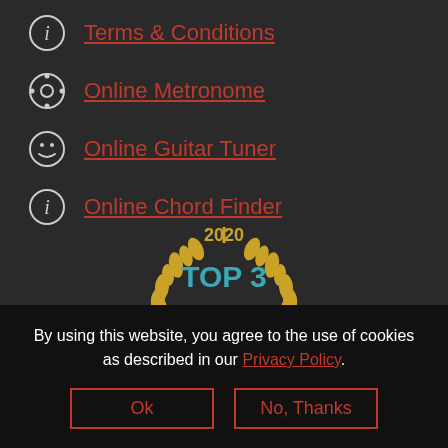Terms & Conditions
Online Metronome
Online Guitar Tuner
Online Chord Finder
[Figure (logo): Award badge showing '2020 TOP 3 MUSIC SCHOOLS IN BRISTOL' with golden laurel wreath design]
By using this website, you agree to the use of cookies as described in our Privacy Policy.
Ok
No, Thanks